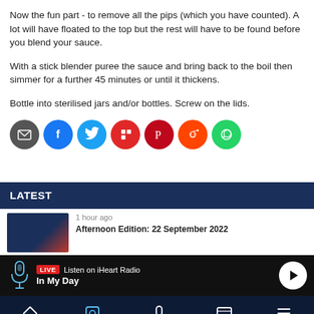Now the fun part - to remove all the pips (which you have counted). A lot will have floated to the top but the rest will have to be found before you blend your sauce.
With a stick blender puree the sauce and bring back to the boil then simmer for a further 45 minutes or until it thickens.
Bottle into sterilised jars and/or bottles. Screw on the lids.
[Figure (infographic): Row of social share buttons: email (grey), Facebook (blue), Twitter (light blue), Flipboard (red), Pinterest (dark red), Reddit (orange), WhatsApp (green)]
LATEST
1 hour ago
Afternoon Edition: 22 September 2022
[Figure (infographic): Live radio bottom bar: microphone icon, LIVE badge, Listen on iHeart Radio, In My Day, play button]
Home | Shows | Podcasts | News | Menu